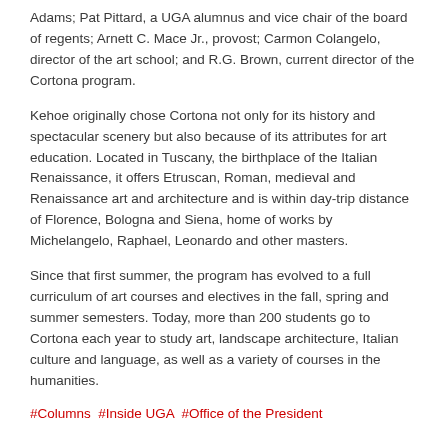Adams; Pat Pittard, a UGA alumnus and vice chair of the board of regents; Arnett C. Mace Jr., provost; Carmon Colangelo, director of the art school; and R.G. Brown, current director of the Cortona program.
Kehoe originally chose Cortona not only for its history and spectacular scenery but also because of its attributes for art education. Located in Tuscany, the birthplace of the Italian Renaissance, it offers Etruscan, Roman, medieval and Renaissance art and architecture and is within day-trip distance of Florence, Bologna and Siena, home of works by Michelangelo, Raphael, Leonardo and other masters.
Since that first summer, the program has evolved to a full curriculum of art courses and electives in the fall, spring and summer semesters. Today, more than 200 students go to Cortona each year to study art, landscape architecture, Italian culture and language, as well as a variety of courses in the humanities.
#Columns  #Inside UGA  #Office of the President